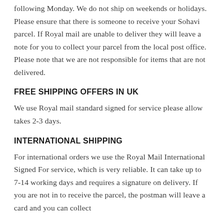following Monday. We do not ship on weekends or holidays. Please ensure that there is someone to receive your Sohavi parcel. If Royal mail are unable to deliver they will leave a note for you to collect your parcel from the local post office. Please note that we are not responsible for items that are not delivered.
FREE SHIPPING OFFERS IN UK
We use Royal mail standard signed for service please allow takes 2-3 days.
INTERNATIONAL SHIPPING
For international orders we use the Royal Mail International Signed For service, which is very reliable. It can take up to 7-14 working days and requires a signature on delivery. If you are not in to receive the parcel, the postman will leave a card and you can collect